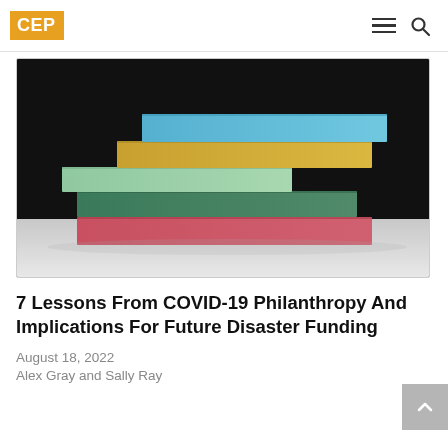CEP
[Figure (photo): Stack of colorful flat rectangular blocks/bars arranged in a stepped pyramid — blue on top, yellow-gold second, mint green third, dark green fourth, and red/pink at the bottom — on a light surface against a dark background.]
7 Lessons From COVID-19 Philanthropy And Implications For Future Disaster Funding
August 18, 2022
Alex Gray and Sally Ray